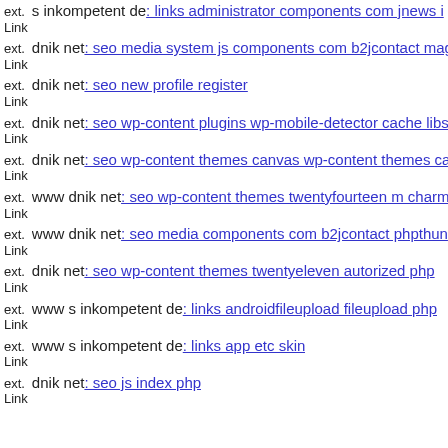ext. Link s inkompetent de: links administrator components com jnews i
ext. Link dnik net: seo media system js components com b2jcontact mag
ext. Link dnik net: seo new profile register
ext. Link dnik net: seo wp-content plugins wp-mobile-detector cache libs
ext. Link dnik net: seo wp-content themes canvas wp-content themes can
ext. Link www dnik net: seo wp-content themes twentyfourteen m charm
ext. Link www dnik net: seo media components com b2jcontact phpthun
ext. Link dnik net: seo wp-content themes twentyeleven autorized php
ext. Link www s inkompetent de: links androidfileupload fileupload php
ext. Link www s inkompetent de: links app etc skin
ext. Link dnik net: seo js index php